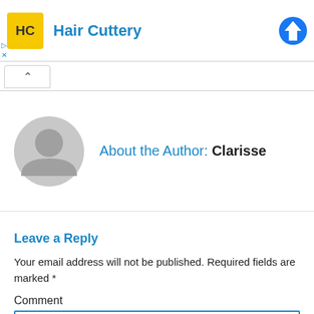[Figure (logo): Hair Cuttery advertisement banner with logo, brand name, and Facebook icon]
About the Author: Clarisse
[Figure (photo): Default grey user avatar icon]
Leave a Reply
Your email address will not be published. Required fields are marked *
Comment